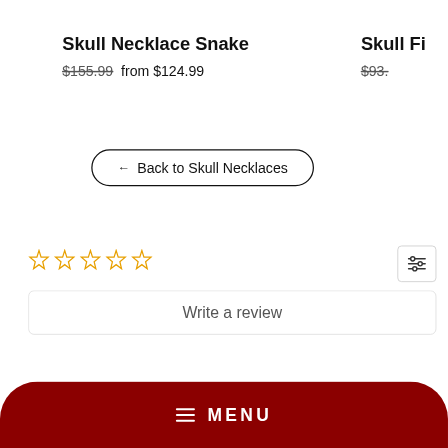Skull Necklace Snake
$155.99  from $124.99
Skull Fi...
$93....
← Back to Skull Necklaces
[Figure (other): Five empty star rating icons in orange/gold outline]
[Figure (other): Filter/settings icon button]
Write a review
MENU